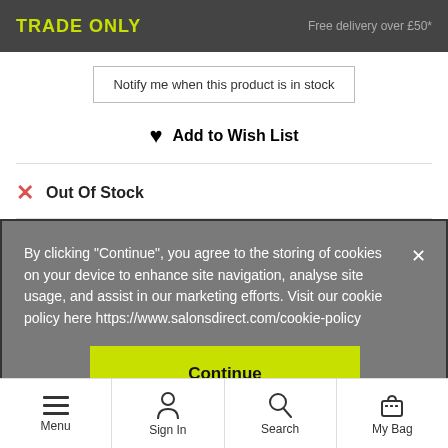TRADE ONLY   Free delivery over £50*
Notify me when this product is in stock
♥ Add to Wish List
✕ Out Of Stock
By clicking "Continue", you agree to the storing of cookies on your device to enhance site navigation, analyse site usage, and assist in our marketing efforts. Visit our cookie policy here https://www.salonsdirect.com/cookie-policy
Continue
Menu   Sign In   Search   My Bag